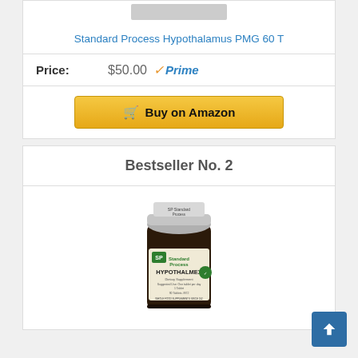[Figure (photo): Partial product image at top of page (cropped)]
Standard Process Hypothalamus PMG 60 T
Price: $50.00 Prime
Buy on Amazon
Bestseller No. 2
[Figure (photo): Standard Process Hypothalmex supplement bottle with dark glass, silver cap, and label showing SP Standard Process Hypothalmex Dietary Supplement]